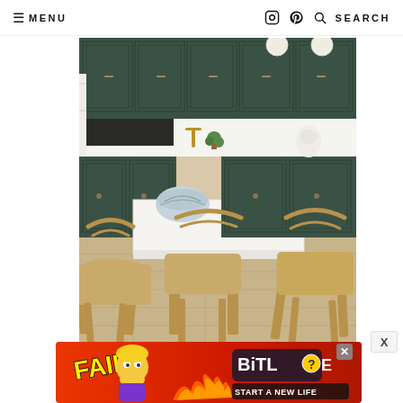≡ MENU   [instagram] [pinterest] 🔍 SEARCH
[Figure (photo): Interior design photo of a modern kitchen with dark green cabinetry, white marble countertops, a white island with natural wood and woven rattan dining chairs in the foreground, and light wood flooring.]
[Figure (screenshot): Advertisement banner for BitLife game with red background, cartoon character, fire graphics, and text 'FAIL' and 'START A NEW LIFE'. Shows BitLife logo with question mark icon and an X close button.]